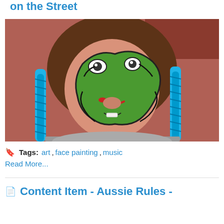on the Street
[Figure (photo): A young girl with face paint resembling a green frog/dinosaur character, with blue braided hair extensions, smiling at the camera. Background shows a red building.]
Tags: art, face painting, music
Read More...
Content Item - Aussie Rules -